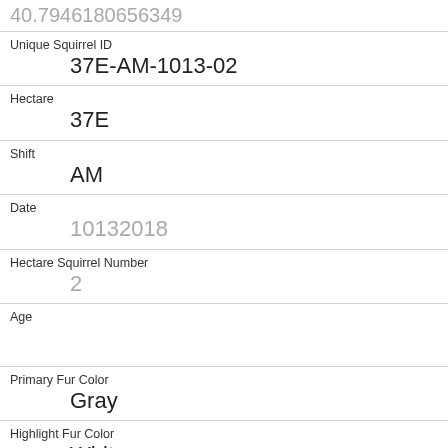| 40.7946180656349 |
| Unique Squirrel ID | 37E-AM-1013-02 |
| Hectare | 37E |
| Shift | AM |
| Date | 10132018 |
| Hectare Squirrel Number | 2 |
| Age |  |
| Primary Fur Color | Gray |
| Highlight Fur Color | White |
| Combination of Primary and Highlight Color | Gray+White |
| Color notes |  |